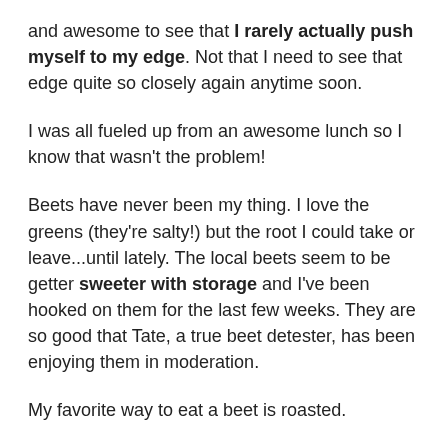and awesome to see that I rarely actually push myself to my edge.  Not that I need to see that edge quite so closely again anytime soon.
I was all fueled up from an awesome lunch so I know that wasn't the problem!
Beets have never been my thing.   I love the greens (they're salty!) but the root I could take or leave...until lately.  The local beets seem to be getter sweeter with storage and I've been hooked on them for the last few weeks.  They are so good that Tate, a true beet detester, has been enjoying them in moderation.
My favorite way to eat a beet is roasted.
Last night I roasted a big batch for dinner and leftovers, along with a turnip.